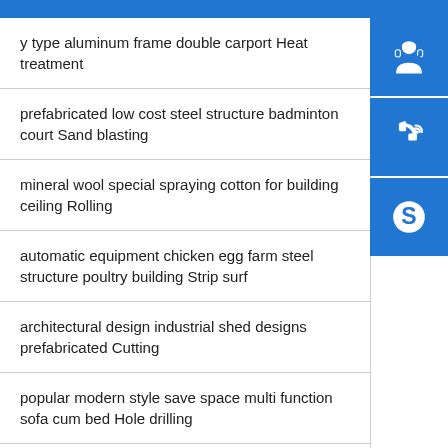y type aluminum frame double carport Heat treatment
prefabricated low cost steel structure badminton court Sand blasting
mineral wool special spraying cotton for building ceiling Rolling
automatic equipment chicken egg farm steel structure poultry building Strip surf
architectural design industrial shed designs prefabricated Cutting
popular modern style save space multi function sofa cum bed Hole drilling
[Figure (illustration): Three blue icon buttons: headset/customer support icon, phone with signal waves icon, and Skype logo icon]
[Figure (illustration): Phone with signal waves icon]
[Figure (illustration): Skype logo icon]